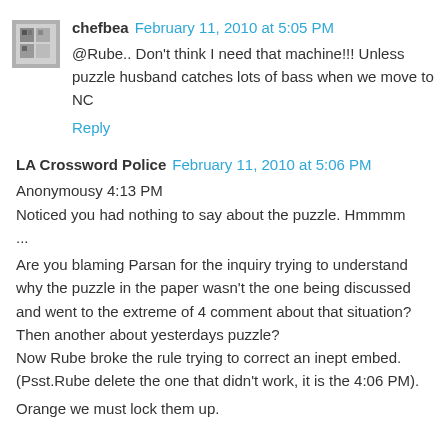chefbea  February 11, 2010 at 5:05 PM
@Rube.. Don't think I need that machine!!! Unless puzzle husband catches lots of bass when we move to NC
Reply
LA Crossword Police  February 11, 2010 at 5:06 PM
Anonymousy 4:13 PM
Noticed you had nothing to say about the puzzle. Hmmmm
...
Are you blaming Parsan for the inquiry trying to understand why the puzzle in the paper wasn't the one being discussed and went to the extreme of 4 comment about that situation? Then another about yesterdays puzzle?
Now Rube broke the rule trying to correct an inept embed.
(Psst.Rube delete the one that didn't work, it is the 4:06 PM).
Orange we must lock them up.